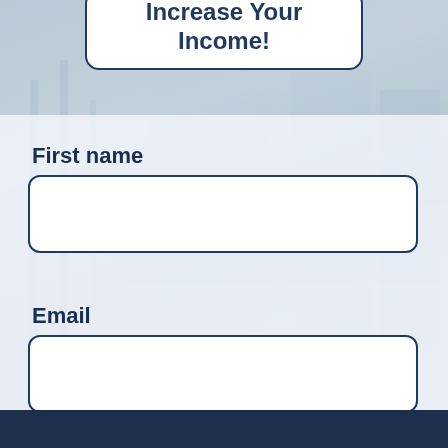Increase Your Income!
First name
Email
[Figure (infographic): Orange CTA button with text 'Show me how!' and sub-text 'Zero Spam - We Promise!']